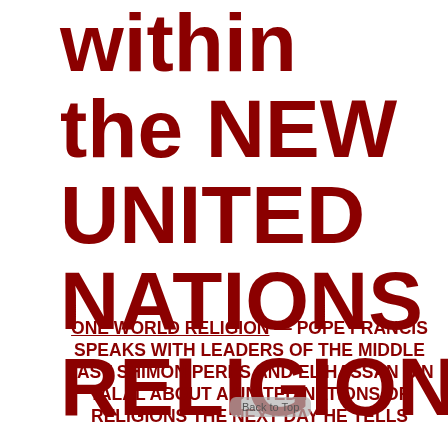within the NEW UNITED NATIONS RELIGION
September 8, 2014
ONE WORLD RELIGION — POPE FRANCIS SPEAKS WITH LEADERS OF THE MIDDLE EAST SHIMON PERES AND EL HASSAN BIN TALAL ABOUT A UNITED NATIONS OF RELIGIONS THE NEXT DAY HE TELLS